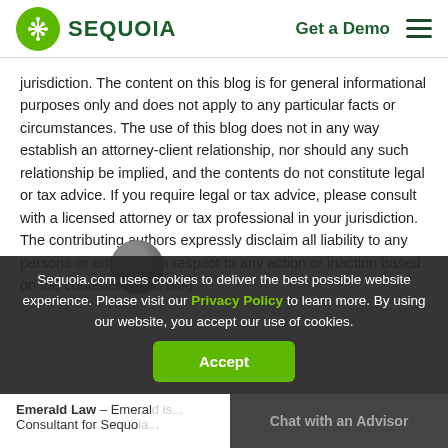SEQUOIA | Get a Demo
jurisdiction. The content on this blog is for general informational purposes only and does not apply to any particular facts or circumstances. The use of this blog does not in any way establish an attorney-client relationship, nor should any such relationship be implied, and the contents do not constitute legal or tax advice. If you require legal or tax advice, please consult with a licensed attorney or tax professional in your jurisdiction. The contributing authors expressly disclaim all liability to any persons or entities with respect to any action or inaction based on the contents of this blog.
Sequoia.com uses cookies to deliver the best possible website experience. Please visit our Privacy Policy to learn more. By using our website, you accept our use of cookies.
Emerald Law – Emerald is... Consultant for Sequo...